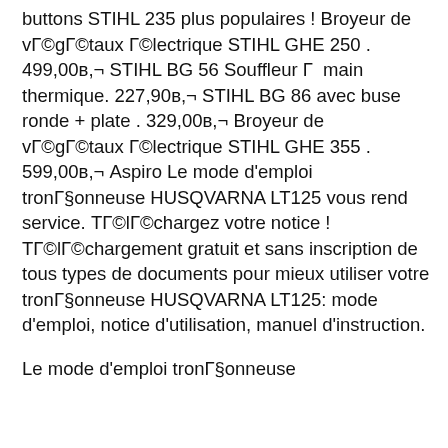buttons STIHL 235 plus populaires ! Broyeur de vГ©gГ©taux Г©lectrique STIHL GHE 250 . 499,00в,¬ STIHL BG 56 Souffleur Г  main thermique. 227,90в,¬ STIHL BG 86 avec buse ronde + plate . 329,00в,¬ Broyeur de vГ©gГ©taux Г©lectrique STIHL GHE 355 . 599,00в,¬ Aspiro Le mode d'emploi tronГ§onneuse HUSQVARNA LT125 vous rend service. ТГ©lГ©chargez votre notice ! ТГ©lГ©chargement gratuit et sans inscription de tous types de documents pour mieux utiliser votre tronГ§onneuse HUSQVARNA LT125: mode d'emploi, notice d'utilisation, manuel d'instruction.
Le mode d'emploi tronГ§onneuse